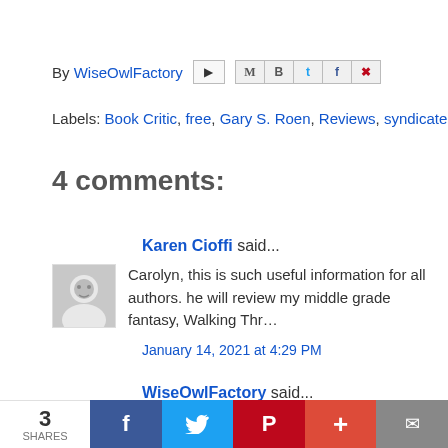By WiseOwlFactory [email icon] [share icons: Gmail, Blogger, Twitter, Facebook, Pinterest]
Labels: Book Critic, free, Gary S. Roen, Reviews, syndicate
4 comments:
Karen Cioffi said...
Carolyn, this is such useful information for all authors. he will review my middle grade fantasy, Walking Thr...
January 14, 2021 at 4:29 PM
WiseOwlFactory said...
Thank you for reading!
January 14, 2021 at 8:39 PM